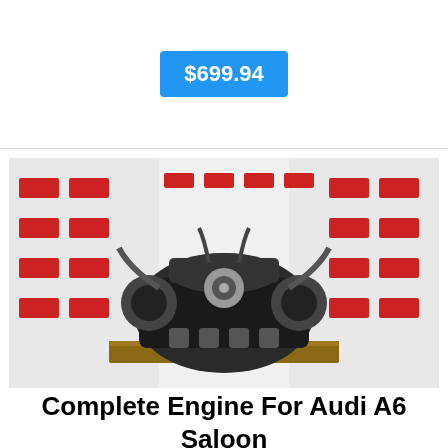$699.94
[Figure (photo): Car engine (Complete Engine For Audi A6 Saloon 4b2 24 Quattro Aga 950986) photographed against a white wall with red markings in a workshop/warehouse setting.]
Complete Engine For Audi A6 Saloon 4b2 24 Quattro Aga 950986